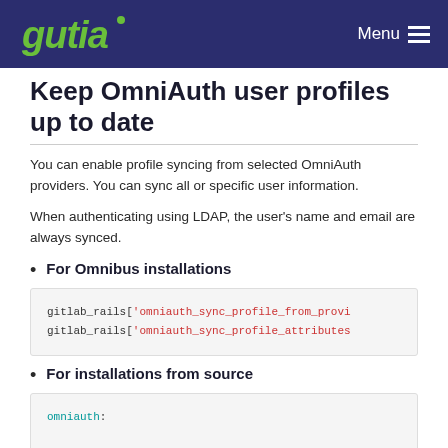gutia Menu
Keep OmniAuth user profiles up to date
You can enable profile syncing from selected OmniAuth providers. You can sync all or specific user information.
When authenticating using LDAP, the user's name and email are always synced.
For Omnibus installations
gitlab_rails['omniauth_sync_profile_from_provi
gitlab_rails['omniauth_sync_profile_attributes
For installations from source
omniauth: